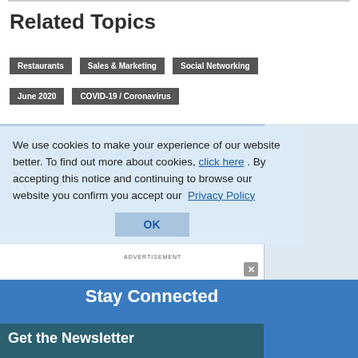Related Topics
Restaurants
Sales & Marketing
Social Networking
June 2020
COVID-19 / Coronavirus
[Figure (screenshot): Advertisement banner: Is your point of sale a hindrance, or a real strategic partner? Revel]
We use cookies to make your experience of our website better. To find out more about cookies, click here . By accepting this notice and continuing to browse our website you confirm you accept our Privacy Policy
OK
Stay Connected
Get the Newsletter